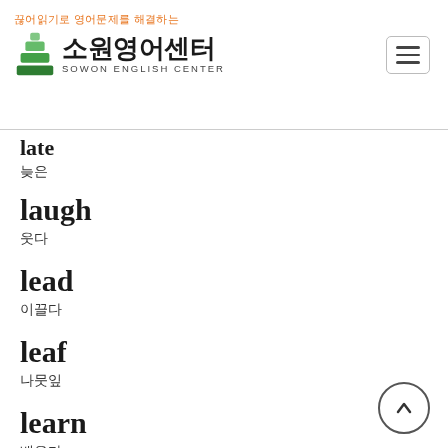[Figure (logo): Sowon English Center logo with Korean text and stacked books icon]
late
늦은
laugh
웃다
lead
이끌다
leaf
나뭇잎
learn
배우다
leave
떠나다